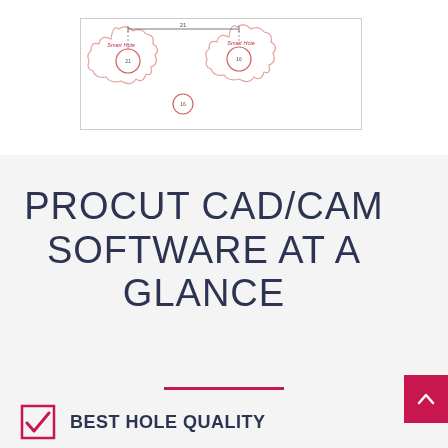[Figure (engineering-diagram): CAD diagram showing smart hole patterns with circular cutouts and red 'Smart Hole' labels on a white background with wavy/cloud-like border shapes]
PROCUT CAD/CAM SOFTWARE AT A GLANCE
BEST HOLE QUALITY